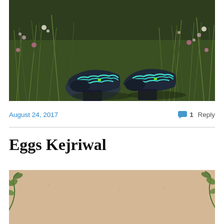[Figure (photo): Overhead view of two running shoes with teal/cyan laces standing in a wild meadow with tall grass and wildflowers]
August 24, 2017
1 Reply
Eggs Kejriwal
[Figure (photo): Top-down view of a beige/sandy surface with small green plant sprigs and scattered specks, partial view]